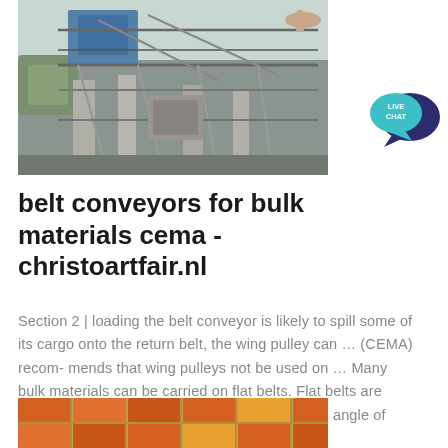[Figure (photo): Industrial belt conveyor machinery on a construction site with blue metal framework, a person's hands visible, and concrete structures in the background under an overcast sky.]
[Figure (infographic): Live Chat speech bubble icon: dark navy speech bubble overlapping a teal/cyan smaller bubble with text LIVE CHAT in white.]
belt conveyors for bulk materials cema - christoartfair.nl
Section 2 | loading the belt conveyor is likely to spill some of its cargo onto the return belt, the wing pulley can … (CEMA) recom- mends that wing pulleys not be used on … Many bulk materials can be carried on flat belts. Flat belts are particularly com- mon for materials with a steep angle of
[Figure (photo): Partial view of colorful orange and yellow bulk materials or bricks at the bottom of the page.]